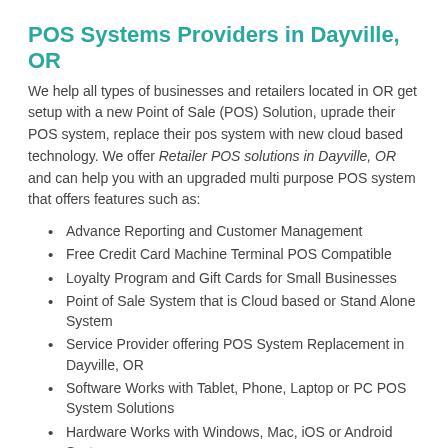POS Systems Providers in Dayville, OR
We help all types of businesses and retailers located in OR get setup with a new Point of Sale (POS) Solution, uprade their POS system, replace their pos system with new cloud based technology. We offer Retailer POS solutions in Dayville, OR and can help you with an upgraded multi purpose POS system that offers features such as:
Advance Reporting and Customer Management
Free Credit Card Machine Terminal POS Compatible
Loyalty Program and Gift Cards for Small Businesses
Point of Sale System that is Cloud based or Stand Alone System
Service Provider offering POS System Replacement in Dayville, OR
Software Works with Tablet, Phone, Laptop or PC POS System Solutions
Hardware Works with Windows, Mac, iOS or Android Systems
Replace your outdated POS with a New Modern Point of Sale Systems in OR